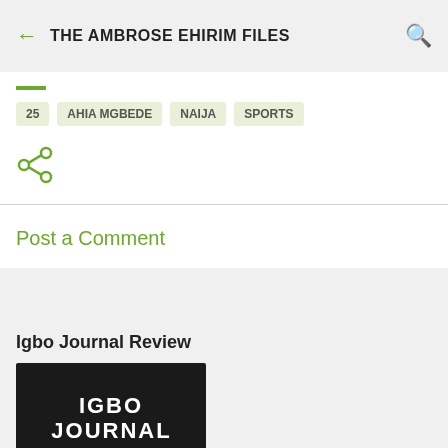THE AMBROSE EHIRIM FILES
25
AHIA MGBEDE
NAIJA
SPORTS
[Figure (other): Share icon (green)]
Post a Comment
[Figure (photo): Book cover with text IGBO JOURNAL in white on black background]
Igbo Journal Review